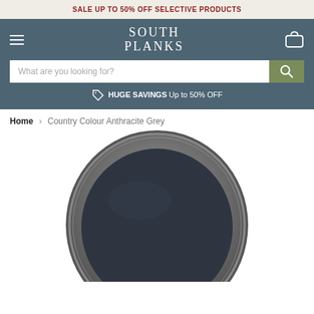SALE UP TO 50% OFF SELECTIVE PRODUCTS
[Figure (logo): South Planks brand logo with hamburger menu icon on left and cart icon on right, on dark teal/grey background with search bar and savings strip]
Home › Country Colour Anthracite Grey
[Figure (photo): Top-down view of an open paint tin containing dark anthracite grey paint, with metallic rim visible]